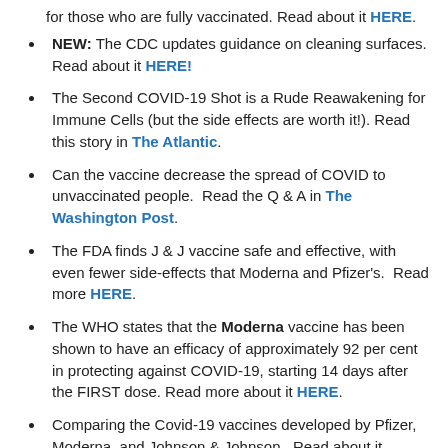for those who are fully vaccinated. Read about it HERE.
NEW: The CDC updates guidance on cleaning surfaces. Read about it HERE!
The Second COVID-19 Shot is a Rude Reawakening for Immune Cells (but the side effects are worth it!). Read this story in The Atlantic.
Can the vaccine decrease the spread of COVID to unvaccinated people. Read the Q & A in The Washington Post.
The FDA finds J & J vaccine safe and effective, with even fewer side-effects that Moderna and Pfizer's. Read more HERE.
The WHO states that the Moderna vaccine has been shown to have an efficacy of approximately 92 per cent in protecting against COVID-19, starting 14 days after the FIRST dose. Read more about it HERE.
Comparing the Covid-19 vaccines developed by Pfizer, Moderna, and Johnson & Johnson. Read about it HERE.
PHARMACY VACCINATION SITES